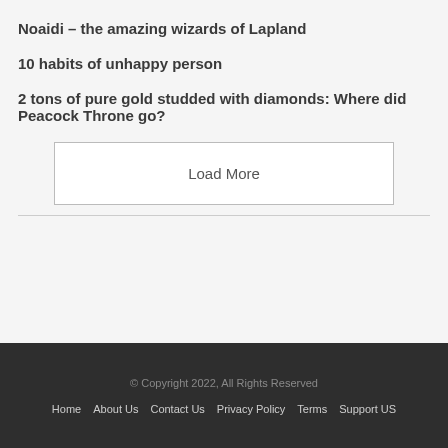Noaidi – the amazing wizards of Lapland
10 habits of unhappy person
2 tons of pure gold studded with diamonds: Where did Peacock Throne go?
Load More
© Copyright 2022, All Rights Reserved
Home  About Us  Contact Us  Privacy Policy  Terms  Support US